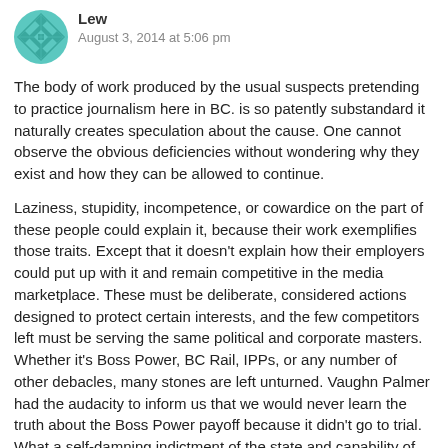[Figure (illustration): Teal/green geometric quilt-pattern avatar icon, circular shape with diamond/cross pattern]
Lew
August 3, 2014 at 5:06 pm
The body of work produced by the usual suspects pretending to practice journalism here in BC. is so patently substandard it naturally creates speculation about the cause. One cannot observe the obvious deficiencies without wondering why they exist and how they can be allowed to continue.
Laziness, stupidity, incompetence, or cowardice on the part of these people could explain it, because their work exemplifies those traits. Except that it doesn't explain how their employers could put up with it and remain competitive in the media marketplace. These must be deliberate, considered actions designed to protect certain interests, and the few competitors left must be serving the same political and corporate masters. Whether it's Boss Power, BC Rail, IPPs, or any number of other debacles, many stones are left unturned. Vaughn Palmer had the audacity to inform us that we would never learn the truth about the Boss Power payoff because it didn't go to trial. What a self-damning indictment of the state and capability of investigative journalism in this province!